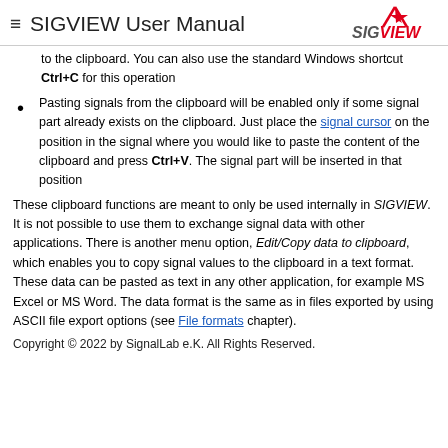SIGVIEW User Manual
to the clipboard. You can also use the standard Windows shortcut Ctrl+C for this operation
Pasting signals from the clipboard will be enabled only if some signal part already exists on the clipboard. Just place the signal cursor on the position in the signal where you would like to paste the content of the clipboard and press Ctrl+V. The signal part will be inserted in that position
These clipboard functions are meant to only be used internally in SIGVIEW. It is not possible to use them to exchange signal data with other applications. There is another menu option, Edit/Copy data to clipboard, which enables you to copy signal values to the clipboard in a text format. These data can be pasted as text in any other application, for example MS Excel or MS Word. The data format is the same as in files exported by using ASCII file export options (see File formats chapter).
Copyright © 2022 by SignalLab e.K. All Rights Reserved.